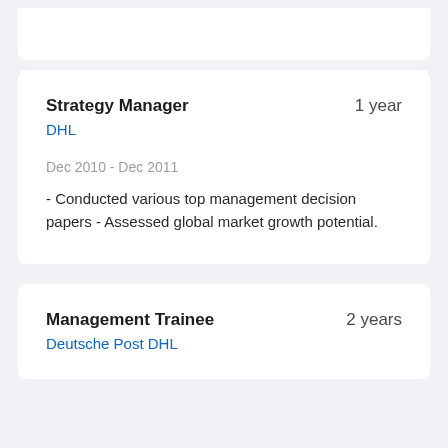Strategy Manager
1 year
DHL
Dec 2010 - Dec 2011
- Conducted various top management decision papers - Assessed global market growth potential.
Management Trainee
2 years
Deutsche Post DHL